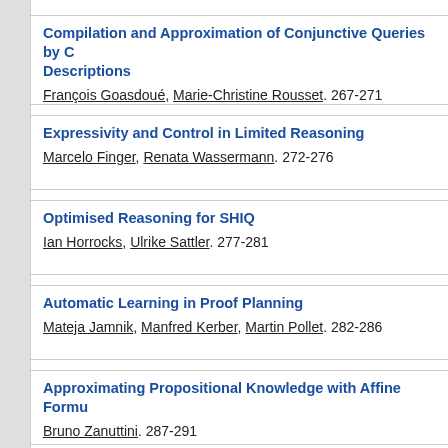Compilation and Approximation of Conjunctive Queries by Concept Descriptions
François Goasdoué, Marie-Christine Rousset. 267-271
Expressivity and Control in Limited Reasoning
Marcelo Finger, Renata Wassermann. 272-276
Optimised Reasoning for SHIQ
Ian Horrocks, Ulrike Sattler. 277-281
Automatic Learning in Proof Planning
Mateja Jamnik, Manfred Kerber, Martin Pollet. 282-286
Approximating Propositional Knowledge with Affine Formulas
Bruno Zanuttini. 287-291
Hypothesising Object Relations from Image Transitions